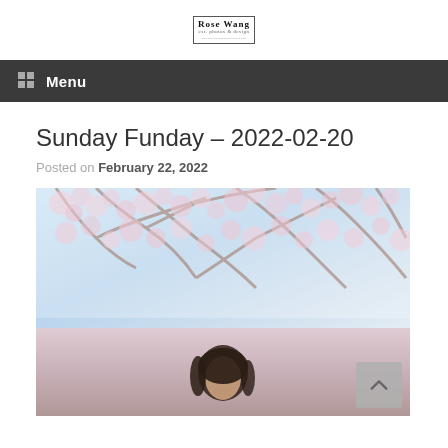RoseWing
Menu
Sunday Funday – 2022-02-20
Posted on February 22, 2022
[Figure (photo): A young woman standing under cherry blossom trees with pink flowers and pale blue sky in background.]